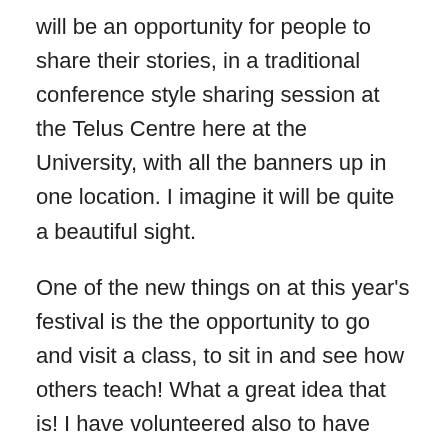will be an opportunity for people to share their stories, in a traditional conference style sharing session at the Telus Centre here at the University, with all the banners up in one location. I imagine it will be quite a beautiful sight.
One of the new things on at this year's festival is the the opportunity to go and visit a class, to sit in and see how others teach! What a great idea that is! I have volunteered also to have people come to my class, and I offered our online class for INTD 410, in Elluminate. It will be interesting to see if we get any interest. I will make sure that I attend at least ONE other class during the Festival week, seeing how others teach can be so motivating to do better.